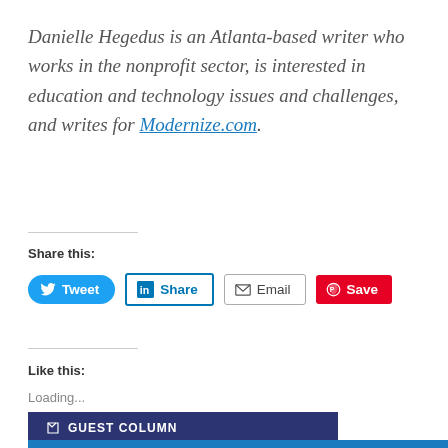Danielle Hegedus is an Atlanta-based writer who works in the nonprofit sector, is interested in education and technology issues and challenges, and writes for Modernize.com.
Share this:
[Figure (screenshot): Social sharing buttons: Tweet (Twitter/blue), Share (LinkedIn/blue outline), Email (grey outline), Save (Pinterest/red)]
Like this:
Loading...
GUEST COLUMN
CLASSROOM INTEGRATION